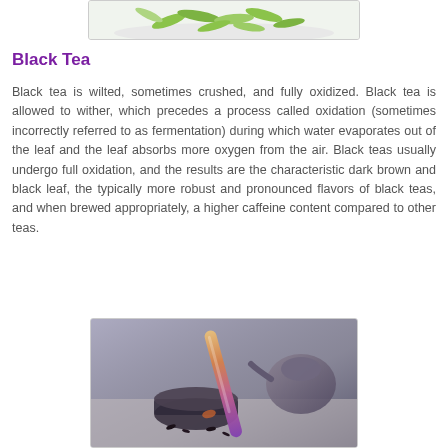[Figure (photo): Top portion of a photo showing green tea leaves on a white plate/surface, partially visible at the top of the page]
Black Tea
Black tea is wilted, sometimes crushed, and fully oxidized. Black tea is allowed to wither, which precedes a process called oxidation (sometimes incorrectly referred to as fermentation) during which water evaporates out of the leaf and the leaf absorbs more oxygen from the air. Black teas usually undergo full oxidation, and the results are the characteristic dark brown and black leaf, the typically more robust and pronounced flavors of black teas, and when brewed appropriately, a higher caffeine content compared to other teas.
[Figure (photo): Photo showing black tea being poured or prepared, with a teapot and loose black tea leaves visible, in dark muted tones]